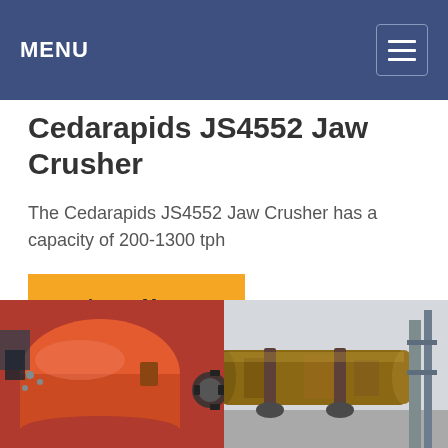MENU
Cedarapids JS4552 Jaw Crusher
The Cedarapids JS4552 Jaw Crusher has a capacity of 200-1300 tph
Learn More
[Figure (photo): Two industrial machines side by side: left shows a large orange rotary ball mill with gear mechanism, right shows a rusty cylindrical rotary kiln or drum in an industrial yard.]